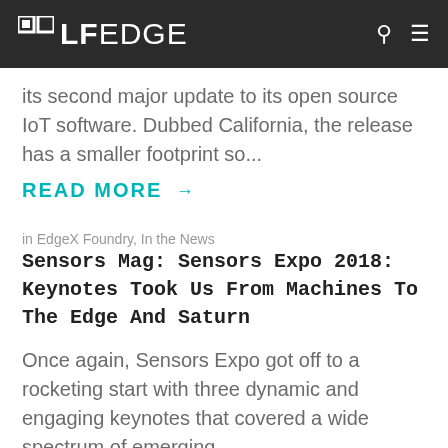LF EDGE
its second major update to its open source IoT software. Dubbed California, the release has a smaller footprint so...
READ MORE →
in EdgeX Foundry, In the News
Sensors Mag: Sensors Expo 2018: Keynotes Took Us From Machines To The Edge And Saturn
Once again, Sensors Expo got off to a rocketing start with three dynamic and engaging keynotes that covered a wide spectrum of emerging